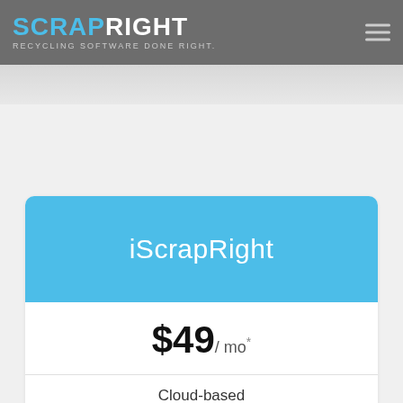ScrapRight - RECYCLING SOFTWARE DONE RIGHT.
iScrapRight
$49/ mo*
Cloud-based
Web and iPad
Fast Ticketing